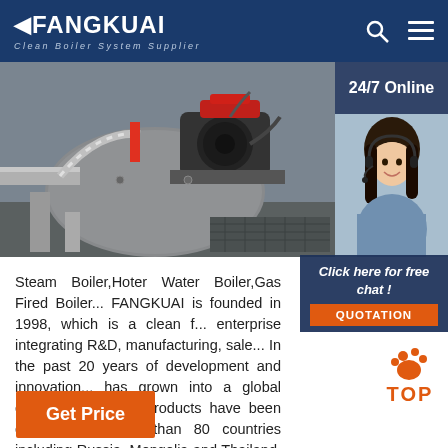FANGKUAI Clean Boiler System Supplier
[Figure (photo): Close-up photo of industrial boiler machinery with pipes, motor, and equipment in a facility]
[Figure (photo): 24/7 Online customer service representative (woman with headset) widget on the right side]
Steam Boiler,Hoter Water Boiler,Gas Fired Boiler... FANGKUAI is founded in 1998, which is a clean fuel enterprise integrating R&D, manufacturing, sale... In the past 20 years of development and innovation... has grown into a global enterprise, and its products have been exported to more than 80 countries including Russia, Mongolia and Thailand, and have established long-lasting cooperative relations with local ...
Get Price